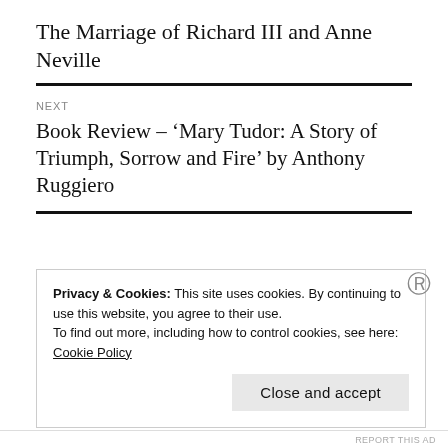The Marriage of Richard III and Anne Neville
NEXT
Book Review – ‘Mary Tudor: A Story of Triumph, Sorrow and Fire’ by Anthony Ruggiero
FOLLOW BLOG VIA EMAIL
Privacy & Cookies: This site uses cookies. By continuing to use this website, you agree to their use.
To find out more, including how to control cookies, see here: Cookie Policy
Close and accept